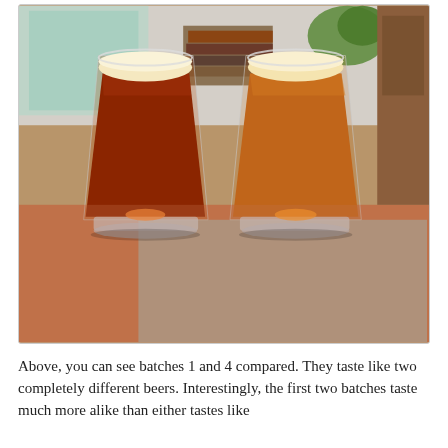[Figure (photo): Two pint glasses of beer side by side on a table. The left glass contains a darker, deep amber/red beer. The right glass contains a lighter, orange-amber beer. Both have slight white foam heads. The background shows a domestic interior with books and plants.]
Above, you can see batches 1 and 4 compared. They taste like two completely different beers. Interestingly, the first two batches taste much more alike than either tastes like